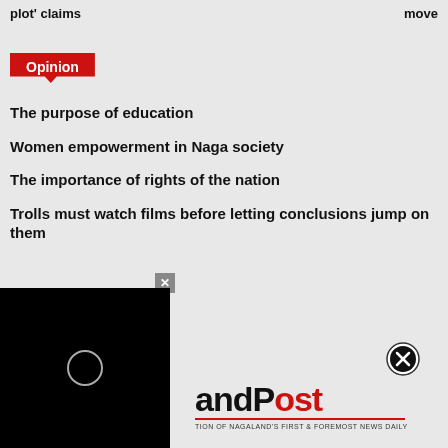plot' claims   move
[Figure (logo): Opinion section badge in red with white text]
The purpose of education
Women empowerment in Naga society
The importance of rights of the nation
Trolls must watch films before letting conclusions jump on them
[Figure (screenshot): Advertisement overlay with black video player box showing loading circle and NagalandPost newspaper logo with tagline 'TION OF NAGALAND'S FIRST & FOREMOST NEWS DAILY']